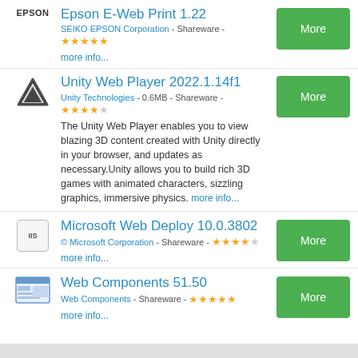Epson E-Web Print 1.22 - SEIKO EPSON Corporation - Shareware - ★★★★★
Unity Web Player 2022.1.14f1 - Unity Technologies - 0.6MB - Shareware - ★★★★ - The Unity Web Player enables you to view blazing 3D content created with Unity directly in your browser, and updates as necessary.Unity allows you to build rich 3D games with animated characters, sizzling graphics, immersive physics.
Microsoft Web Deploy 10.0.3802 - © Microsoft Corporation - Shareware - ★★★★
Web Components 51.50 - Web Components - Shareware - ★★★★★